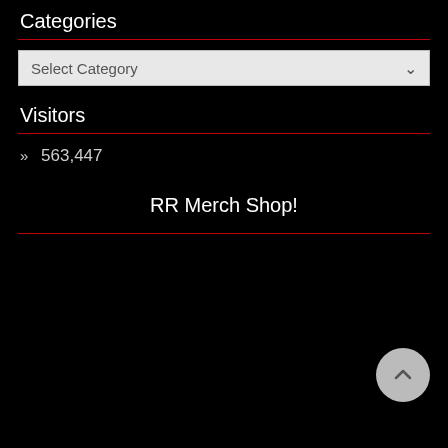Categories
Select Category
Visitors
» 563,447
RR Merch Shop!